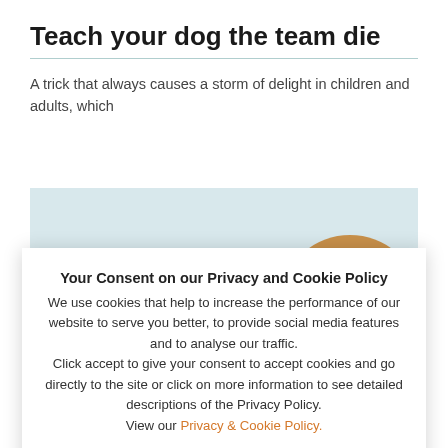Teach your dog the team die
A trick that always causes a storm of delight in children and adults, which
[Figure (photo): A small brown and white puppy lying on a light blue surface, looking at the camera with large eyes.]
Your Consent on our Privacy and Cookie Policy
We use cookies that help to increase the performance of our website to serve you better, to provide social media features and to analyse our traffic.
Click accept to give your consent to accept cookies and go directly to the site or click on more information to see detailed descriptions of the Privacy Policy.
View our Privacy & Cookie Policy.
OK